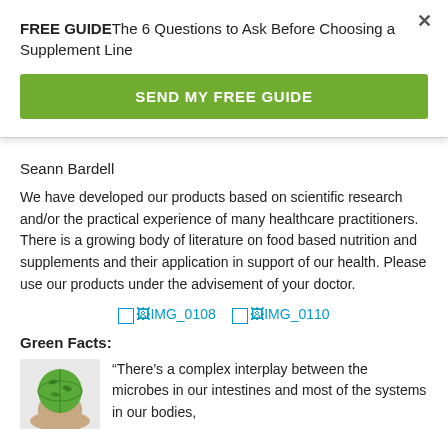FREE GUIDE The 6 Questions to Ask Before Choosing a Supplement Line
SEND MY FREE GUIDE
Seann Bardell
We have developed our products based on scientific research and/or the practical experience of many healthcare practitioners. There is a growing body of literature on food based nutrition and supplements and their application in support of our health. Please use our products under the advisement of your doctor.
[Figure (photo): Two broken image placeholders labeled IMG_0108 and IMG_0110]
Green Facts:
[Figure (photo): Hands holding a green globe/earth illustration]
“There’s a complex interplay between the microbes in our intestines and most of the systems in our bodies,